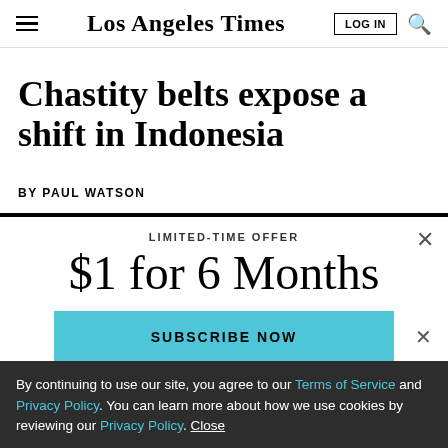Los Angeles Times
Chastity belts expose a shift in Indonesia
BY PAUL WATSON
LIMITED-TIME OFFER
$1 for 6 Months
SUBSCRIBE NOW
By continuing to use our site, you agree to our Terms of Service and Privacy Policy. You can learn more about how we use cookies by reviewing our Privacy Policy. Close